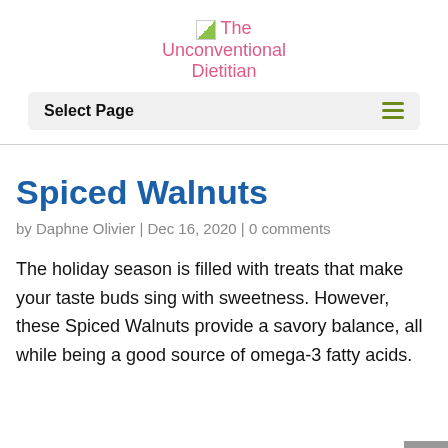The Unconventional Dietitian
Select Page
Spiced Walnuts
by Daphne Olivier | Dec 16, 2020 | 0 comments
The holiday season is filled with treats that make your taste buds sing with sweetness. However, these Spiced Walnuts provide a savory balance, all while being a good source of omega-3 fatty acids.